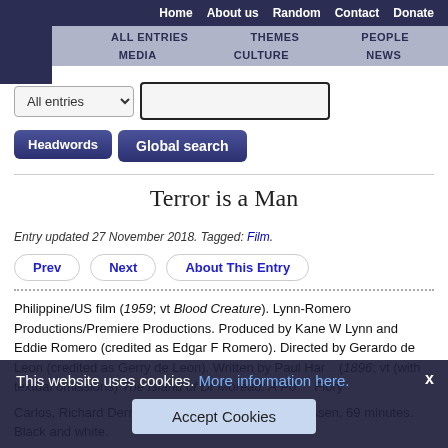Home  About us  Random  Contact  Donate
ALL ENTRIES  THEMES  PEOPLE  MEDIA  CULTURE  NEWS
All entries [dropdown]  [search input]  Headwords  Global search
Terror is a Man
Entry updated 27 November 2018. Tagged: Film.
Prev  Next  About This Entry
Philippine/US film (1959; vt Blood Creature). Lynn-Romero Productions/Premiere Productions. Produced by Kane W Lynn and Eddie Romero (credited as Edgar F Romero). Directed by Gerardo de Leon (credited as Gerry de Leon). Written by Paul Har... (1896; vt (with textual omissions) The Island of Dr Moreau: A Po... Fiory Carlos, Richard Dern, Francis Ledern and Grita Thyssen. 69 minutes. Black and white.
This website uses cookies. More information here.  Accept Cookies  X